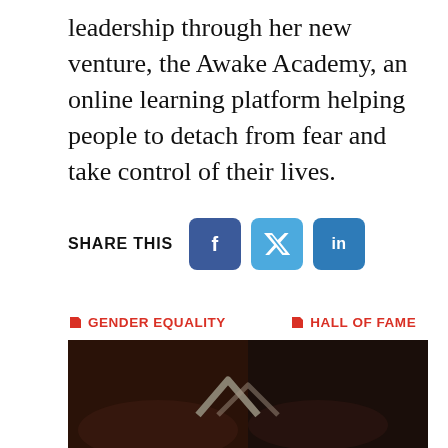leadership through her new venture, the Awake Academy, an online learning platform helping people to detach from fear and take control of their lives.
[Figure (other): Social share buttons: Facebook (f), Twitter (bird icon), LinkedIn (in), with 'SHARE THIS' label]
GENDER EQUALITY
HALL OF FAME
LAYNE BEACHLEY
WOMEN'S AGENDA LEADERSHIP AWARDS
WOMEN'S SURFING
[Figure (photo): Dark cropped photo showing a hand holding what appears to be a metallic angular shape, dark background]